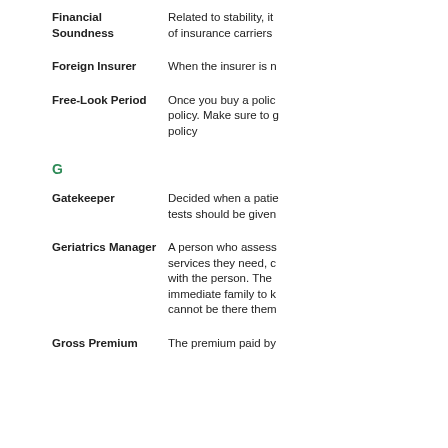Financial Soundness — Related to stability, it... of insurance carriers
Foreign Insurer — When the insurer is n...
Free-Look Period — Once you buy a polic... policy. Make sure to g... policy
G
Gatekeeper — Decided when a patie... tests should be given
Geriatrics Manager — A person who assess... services they need, c... with the person. The... immediate family to k... cannot be there them...
Gross Premium — The premium paid by...